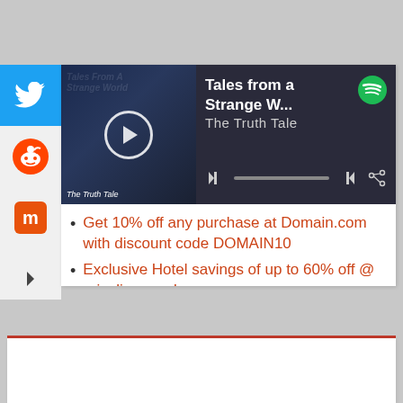[Figure (screenshot): Spotify embedded music player showing 'Tales from a Strange W...' by The Truth Tale with album art, play button, progress bar, and controls]
Get 10% off any purchase at Domain.com with discount code DOMAIN10
Exclusive Hotel savings of up to 60% off @ priceline.com!
Computer Best Sellers And Deals
Save Up to 60% on Dental Care. Join. Save. Smile.